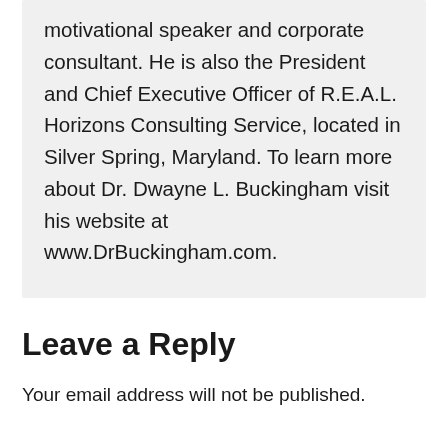motivational speaker and corporate consultant. He is also the President and Chief Executive Officer of R.E.A.L. Horizons Consulting Service, located in Silver Spring, Maryland. To learn more about Dr. Dwayne L. Buckingham visit his website at www.DrBuckingham.com.
Leave a Reply
Your email address will not be published.